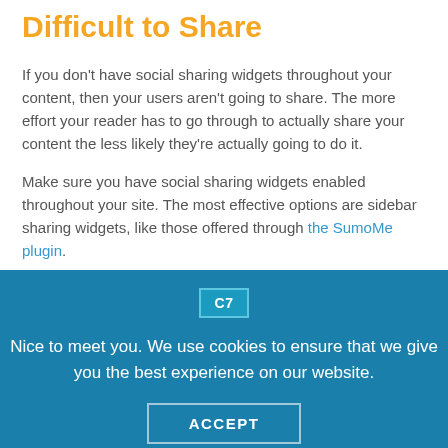Difficult to Share
If you don't have social sharing widgets throughout your content, then your users aren't going to share. The more effort your reader has to go through to actually share your content the less likely they're actually going to do it.
Make sure you have social sharing widgets enabled throughout your site. The most effective options are sidebar sharing widgets, like those offered through the SumoMe plugin.
You can even encourage users to share by actually asking
C7
Nice to meet you. We use cookies to ensure that we give you the best experience on our website.
ACCEPT